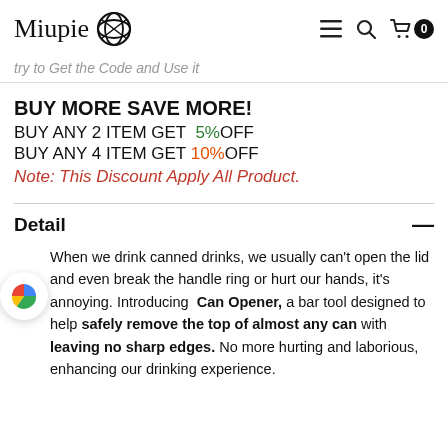Miupie [logo] ≡ 🔍 🛒 0
try to Get the Code and Use it
BUY MORE SAVE MORE!
BUY ANY 2 ITEM GET 5%OFF
BUY ANY 4 ITEM GET 10%OFF
Note: This Discount Apply All Product.
Detail
When we drink canned drinks, we usually can't open the lid and even break the handle ring or hurt our hands, it's annoying. Introducing Can Opener, a bar tool designed to help safely remove the top of almost any can with leaving no sharp edges. No more hurting and laborious, enhancing our drinking experience.